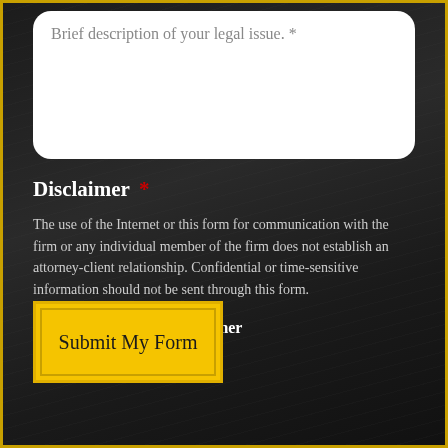Brief description of your legal issue. *
Disclaimer *
The use of the Internet or this form for communication with the firm or any individual member of the firm does not establish an attorney-client relationship. Confidential or time-sensitive information should not be sent through this form.
I have read the disclaimer
Submit My Form